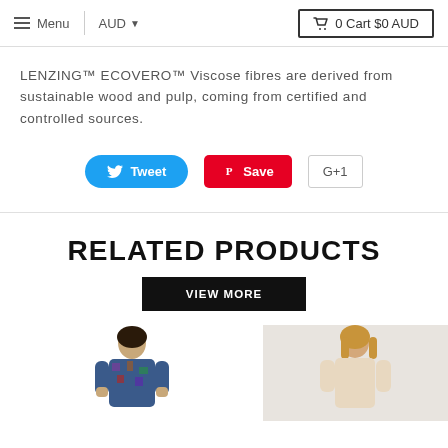Menu | AUD | 0 Cart $0 AUD
LENZING™ ECOVERO™ Viscose fibres are derived from sustainable wood and pulp, coming from certified and controlled sources.
[Figure (screenshot): Social sharing buttons: Tweet (Twitter), Save (Pinterest), G+1 (Google Plus)]
RELATED PRODUCTS
VIEW MORE
[Figure (photo): Two product photos showing women modeling clothing items]